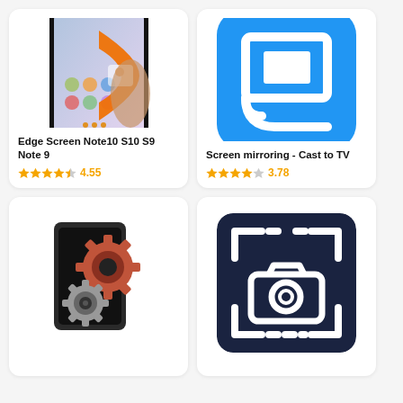[Figure (screenshot): App icon for Edge Screen Note10 S10 S9 Note 9 showing a smartphone with an orange edge panel]
Edge Screen Note10 S10 S9 Note 9
4.55
[Figure (screenshot): App icon for Screen mirroring - Cast to TV showing a cast symbol on blue rounded square background]
Screen mirroring - Cast to TV
3.78
[Figure (screenshot): App icon showing a smartphone with red and silver gear cogs overlaid]
[Figure (screenshot): App icon showing a camera inside a dashed screenshot frame on dark navy background]